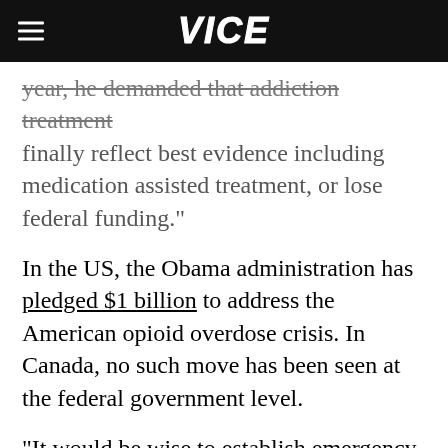VICE
year, he demanded that addiction treatment finally reflect best evidence including medication assisted treatment, or lose federal funding."
In the US, the Obama administration has pledged $1 billion to address the American opioid overdose crisis. In Canada, no such move has been seen at the federal government level.
"It would be wise to establish emergency preparedness plans now if we are to have any hope of minimizing the harms that come with bootleg opioids," Parkinson said. "Governments